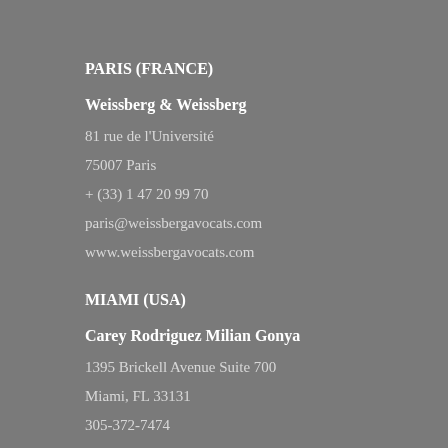PARIS (FRANCE)
Weissberg & Weissberg
81 rue de l'Université
75007 Paris
+ (33) 1 47 20 99 70
paris@weissbergavocats.com
www.weissbergavocats.com
MIAMI (USA)
Carey Rodriguez Milian Gonya
1395 Brickell Avenue Suite 700
Miami, FL 33131
305-372-7474